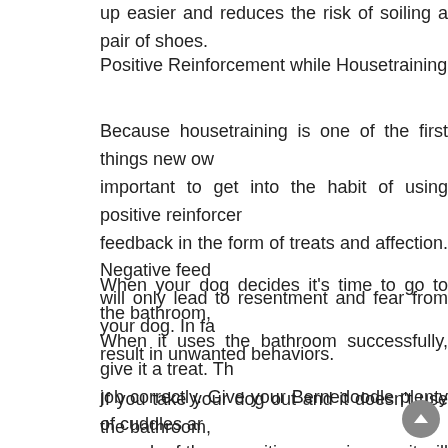up easier and reduces the risk of soiling a pair of shoes.
Positive Reinforcement while Housetraining
Because housetraining is one of the first things new owners do, it’s important to get into the habit of using positive reinforcement. Offer feedback in the form of treats and affection. Negative feedback will only lead to resentment and fear from your dog. In fact, it may result in unwanted behaviors.
When your dog decides it’s time to go to the bathroom, follow it out. When it uses the bathroom successfully, give it a treat. This tells it that it did its job correctly. Give your Bernedoodle plenty of cuddles and praise. After enough of these positive experiences, it will understand what you want.
If you take your dog out and it doesn’t use the bathroom, allow it to sniff around for a little while longer. Try to remove any